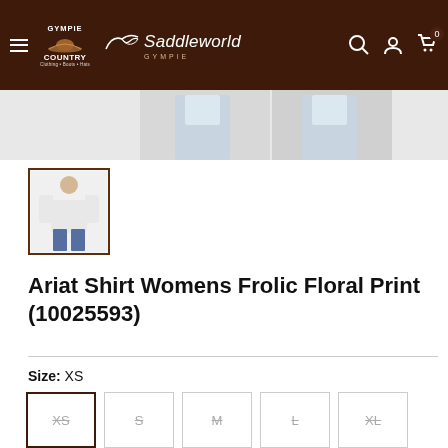[Figure (screenshot): Navigation header bar for Gympie Country / Saddleworld Gympie website with dark brown background, hamburger menu, logos, search, account, and cart icons.]
[Figure (photo): Partial product images of women's shirt - two cropped views visible at top.]
[Figure (photo): Thumbnail image of Ariat Shirt Womens Frolic Floral Print showing a woman wearing white shirt with jeans.]
Ariat Shirt Womens Frolic Floral Print (10025593)
Size:  XS
XS
S
M
L
XL
Colour:  Floral Print